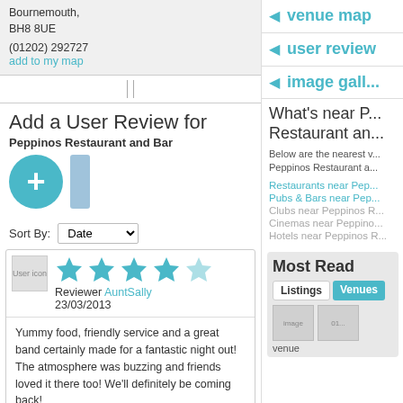Bournemouth, BH8 8UE
(01202) 292727
add to my map
Add a User Review for
Peppinos Restaurant and Bar
Sort By: Date
Reviewer AuntSally
23/03/2013
4 stars
Yummy food, friendly service and a great band certainly made for a fantastic night out! The atmosphere was buzzing and friends loved it there too! We'll definitely be coming back!
Reply to this review
venue map
user review
image gallery
What's near Peppinos Restaurant and Bar
Below are the nearest venues to Peppinos Restaurant and Bar
Restaurants near Pep...
Pubs & Bars near Pep...
Clubs near Peppinos R...
Cinemas near Peppino...
Hotels near Peppinos R...
Most Read
Listings | Venues